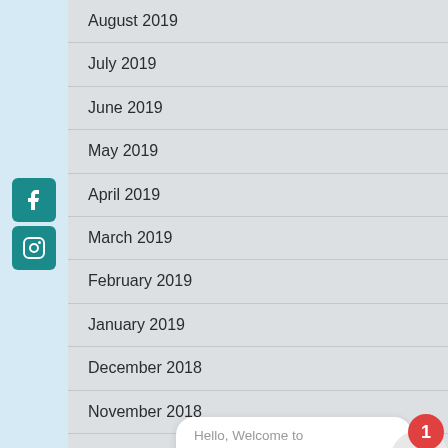August 2019
July 2019
June 2019
May 2019
April 2019
March 2019
February 2019
January 2019
December 2018
November 2018
October 2018
Hello, Welcome to The Dental Care...